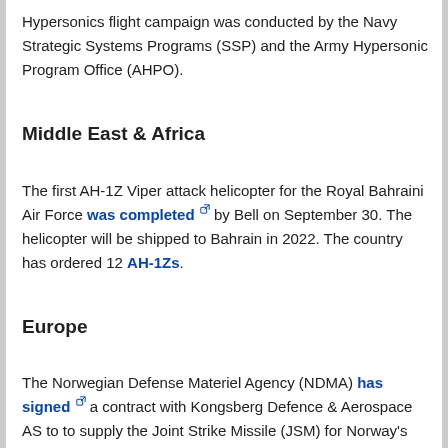Hypersonics flight campaign was conducted by the Navy Strategic Systems Programs (SSP) and the Army Hypersonic Program Office (AHPO).
Middle East & Africa
The first AH-1Z Viper attack helicopter for the Royal Bahraini Air Force was completed [external link] by Bell on September 30. The helicopter will be shipped to Bahrain in 2022. The country has ordered 12 AH-1Zs.
Europe
The Norwegian Defense Materiel Agency (NDMA) has signed [external link] a contract with Kongsberg Defence & Aerospace AS to to supply the Joint Strike Missile (JSM) for Norway's fleet of F-35A Lightning II fighters. The contract is valued at $473 million. The partnership between KONGSBERG, the Norwegian Armed Forces and Norwegian Defence Research Establishment in the definition, development and test of the JSM has been